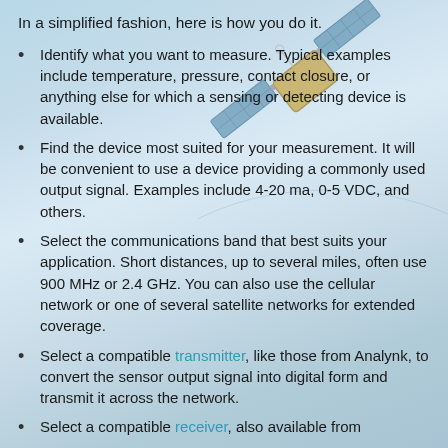In a simplified fashion, here is how you do it.
Identify what you want to measure. Typical examples include temperature, pressure, contact closure, or anything else for which a sensing or detecting device is available.
Find the device most suited for your measurement. It will be convenient to use a device providing a commonly used output signal. Examples include 4-20 ma, 0-5 VDC, and others.
Select the communications band that best suits your application. Short distances, up to several miles, often use 900 MHz or 2.4 GHz. You can also use the cellular network or one of several satellite networks for extended coverage.
Select a compatible transmitter, like those from Analynk, to convert the sensor output signal into digital form and transmit it across the network.
Select a compatible receiver, also available from